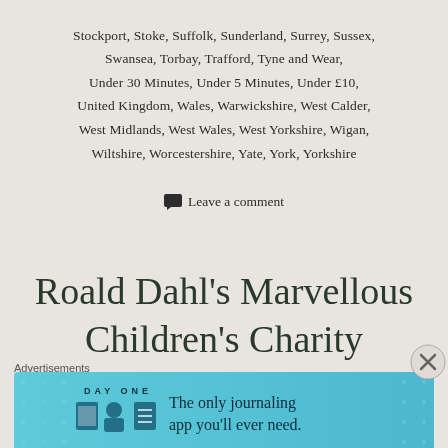Stockport, Stoke, Suffolk, Sunderland, Surrey, Sussex, Swansea, Torbay, Trafford, Tyne and Wear, Under 30 Minutes, Under 5 Minutes, Under £10, United Kingdom, Wales, Warwickshire, West Calder, West Midlands, West Wales, West Yorkshire, Wigan, Wiltshire, Worcestershire, Yate, York, Yorkshire
Leave a comment
Roald Dahl's Marvellous Children's Charity
Advertisements
[Figure (screenshot): DayOne app advertisement banner — light blue background with DayOne logo, icons, and text 'The only journaling app you'll ever need.']